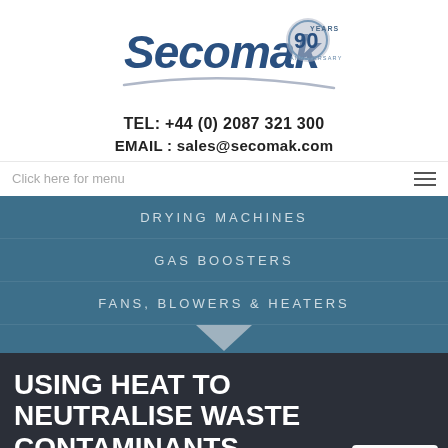[Figure (logo): Secomak 90 Years Anniversary logo]
TEL: +44 (0) 2087 321 300
EMAIL : sales@secomak.com
Click here for menu
DRYING MACHINES
GAS BOOSTERS
FANS, BLOWERS & HEATERS
USING HEAT TO NEUTRALISE WASTE CONTAMINANTS
Roxel Propulsion Systems needed more airflow to